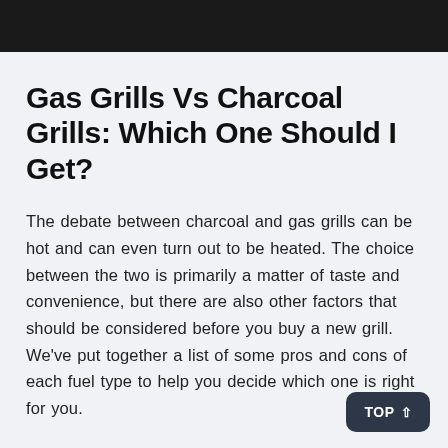Gas Grills Vs Charcoal Grills: Which One Should I Get?
The debate between charcoal and gas grills can be hot and can even turn out to be heated. The choice between the two is primarily a matter of taste and convenience, but there are also other factors that should be considered before you buy a new grill. We've put together a list of some pros and cons of each fuel type to help you decide which one is right for you.
As for the fuel for each gas grill, charcoal grills tend more expensive. A typical 20-pound bag of charcoal costs